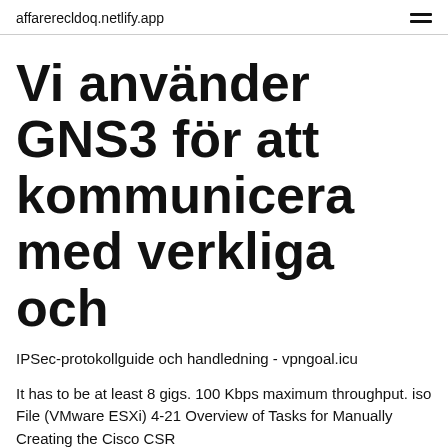affarerecldoq.netlify.app
Vi använder GNS3 för att kommunicera med verkliga och
IPSec-protokollguide och handledning - vpngoal.icu
It has to be at least 8 gigs. 100 Kbps maximum throughput. iso File (VMware ESXi) 4-21 Overview of Tasks for Manually Creating the Cisco CSR